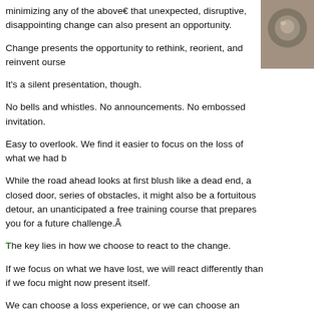minimizing any of the aboveâ€“that unexpected, disruptive, disappointing change can also present an opportunity.
[Figure (photo): Close-up photo of a metallic mechanical object, partially cropped, showing reflective metal surfaces.]
Change presents the opportunity to rethink, reorient, and reinvent ourse…
It’s a silent presentation, though.
No bells and whistles. No announcements. No embossed invitation.
Easy to overlook. We find it easier to focus on the loss of what we had b…
While the road ahead looks at first blush like a dead end, a closed door, series of obstacles, it might also be a fortuitous detour, an unanticipated a free training course that prepares you for a future challenge.Â
The key lies in how we choose to react to the change.
If we focus on what we have lost, we will react differently than if we focu… might now present itself.
We can choose a loss experience, or we can choose an adjusting exper…
Stay tuned for the next installment on Unexpected Change: The Hidden… we will unpack what it means to “rethink, reorient, and reinvent” ourselve…